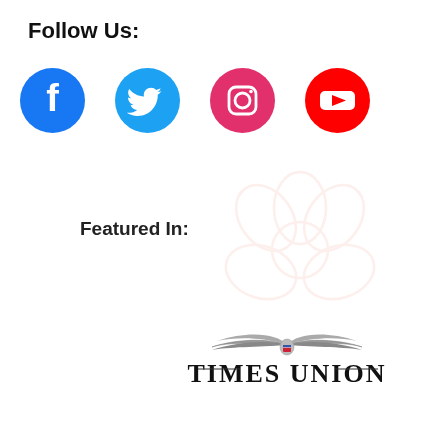Follow Us:
[Figure (logo): Four social media icons: Facebook (blue circle), Twitter (blue circle), Instagram (pink/magenta circle), YouTube (red circle)]
Featured In:
[Figure (illustration): Light pink floral/petal watermark design in background]
[Figure (logo): Times Union newspaper logo with eagle graphic]